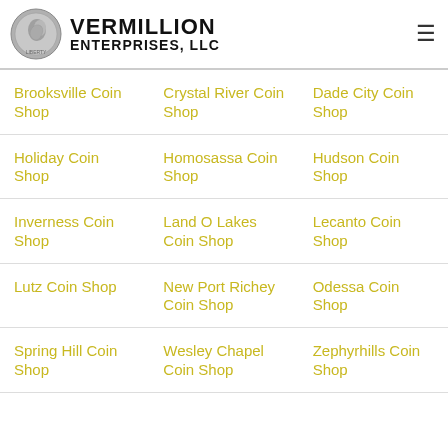Vermillion Enterprises, LLC
Brooksville Coin Shop
Crystal River Coin Shop
Dade City Coin Shop
Holiday Coin Shop
Homosassa Coin Shop
Hudson Coin Shop
Inverness Coin Shop
Land O Lakes Coin Shop
Lecanto Coin Shop
Lutz Coin Shop
New Port Richey Coin Shop
Odessa Coin Shop
Spring Hill Coin Shop
Wesley Chapel Coin Shop
Zephyrhills Coin Shop